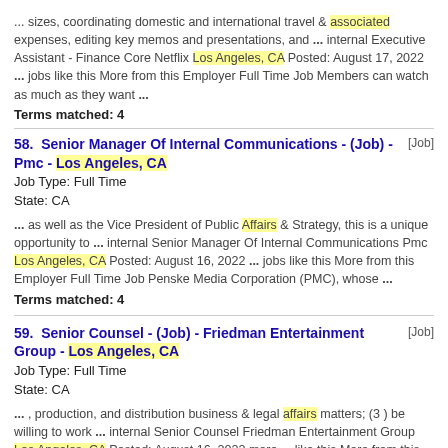... sizes, coordinating domestic and international travel & associated expenses, editing key memos and presentations, and ... internal Executive Assistant - Finance Core Netflix Los Angeles, CA Posted: August 17, 2022 ... jobs like this More from this Employer Full Time Job Members can watch as much as they want ...
Terms matched: 4
58. Senior Manager Of Internal Communications - (Job) - Pmc - Los Angeles, CA
Job Type: Full Time
State: CA
... as well as the Vice President of Public Affairs & Strategy, this is a unique opportunity to ... internal Senior Manager Of Internal Communications Pmc Los Angeles, CA Posted: August 16, 2022 ... jobs like this More from this Employer Full Time Job Penske Media Corporation (PMC), whose ...
Terms matched: 4
59. Senior Counsel - (Job) - Friedman Entertainment Group - Los Angeles, CA
Job Type: Full Time
State: CA
... , production, and distribution business & legal affairs matters; (3 ) be willing to work ... internal Senior Counsel Friedman Entertainment Group Los Angeles, CA Posted: August 16, 2022 more ... like this More from this Employer Full Time Job Friedman Entertainment Group, an entertainment law firm, ...